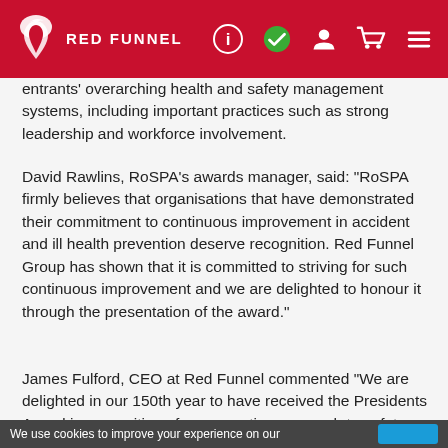RED FUNNEL
entrants' overarching health and safety management systems, including important practices such as strong leadership and workforce involvement.
David Rawlins, RoSPA's awards manager, said: “RoSPA firmly believes that organisations that have demonstrated their commitment to continuous improvement in accident and ill health prevention deserve recognition. Red Funnel Group has shown that it is committed to striving for such continuous improvement and we are delighted to honour it through the presentation of the award.”
James Fulford, CEO at Red Funnel commented “We are delighted in our 150th year to have received the Presidents Award in recognition of our proactive approach to safety management. We are committed to raise the bar continually in both in our safety culture and systems towards best in the industry to ensure a safe and enjoyable environment for our customers and staff.”
We use cookies to improve your experience on our